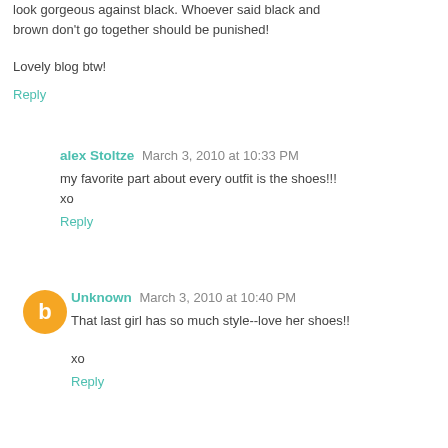look gorgeous against black. Whoever said black and brown don't go together should be punished!
Lovely blog btw!
Reply
alex Stoltze  March 3, 2010 at 10:33 PM
my favorite part about every outfit is the shoes!!!
xo
Reply
Unknown  March 3, 2010 at 10:40 PM
That last girl has so much style--love her shoes!!
xo
Reply